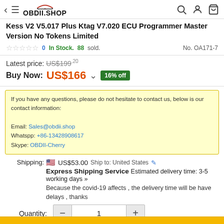OBDII.SHOP
Kess V2 V5.017 Plus Ktag V7.020 ECU Programmer Master Version No Tokens Limited
0 stars  0  In Stock.  88 sold.  No. OA171-7
Latest price: US$199.20
Buy Now: US$166  16% off
If you have any questions, please do not hesitate to contact us, below is our contact information:

Email: Sales@obdii.shop
Whatspp: +86-13428908617
Skype: OBDII-Cherry
Shipping: US$53.00  Ship to: United States
Express Shipping Service  Estimated delivery time: 3-5 working days »
Because the covid-19 affects , the delivery time will be have delays , thanks
Quantity: 1